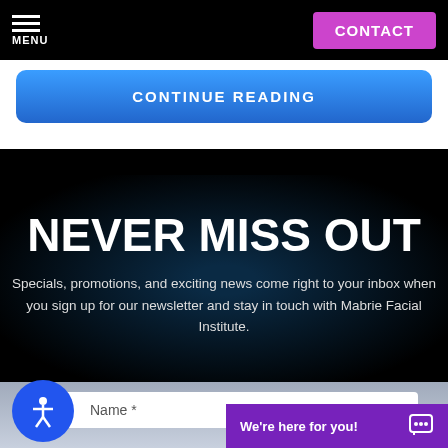MENU | CONTACT
CONTINUE READING
NEVER MISS OUT
Specials, promotions, and exciting news come right to your inbox when you sign up for our newsletter and stay in touch with Mabrie Facial Institute.
Name *
We're here for you!